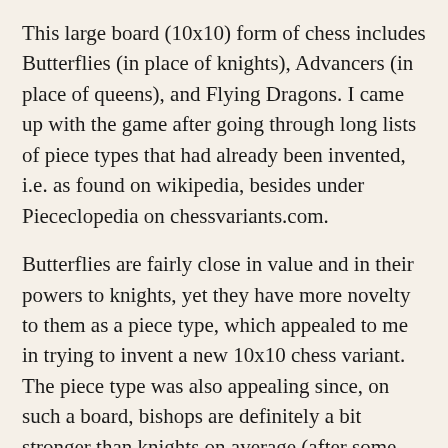This large board (10x10) form of chess includes Butterflies (in place of knights), Advancers (in place of queens), and Flying Dragons. I came up with the game after going through long lists of piece types that had already been invented, i.e. as found on wikipedia, besides under Piececlopedia on chessvariants.com.
Butterflies are fairly close in value and in their powers to knights, yet they have more novelty to them as a piece type, which appealed to me in trying to invent a new 10x10 chess variant. The piece type was also appealing since, on such a board, bishops are definitely a bit stronger than knights on average (after some value estimating calculations of mine, butterflies seemed to me to be just a tiny bit stronger than bishops on such a board). After not liking any number of often seemingly complex, overly powerful or overly weak chess variant piece types during my search, I found that Flying Dragons seemed to suit my needs too, as is explained in the Notes section further below. Advancers were the sort of roughly equivalent substitute for queens that I was